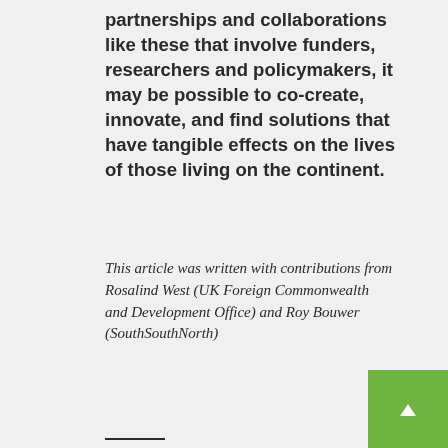partnerships and collaborations like these that involve funders, researchers and policymakers, it may be possible to co-create, innovate, and find solutions that have tangible effects on the lives of those living on the continent.
This article was written with contributions from Rosalind West (UK Foreign Commonwealth and Development Office) and Roy Bouwer (SouthSouthNorth)
___